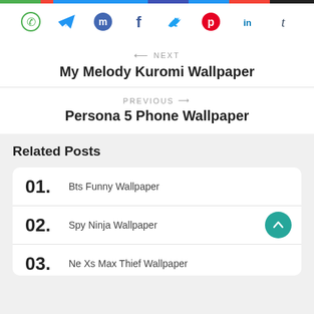[Figure (other): Multicolor horizontal bar at top of page]
[Figure (other): Social sharing icons row: WhatsApp (green), Telegram (blue), Messenger (blue), Facebook (dark blue), Twitter (blue), Pinterest (red), LinkedIn (blue), Tumblr (blue)]
NEXT
My Melody Kuromi Wallpaper
PREVIOUS
Persona 5 Phone Wallpaper
Related Posts
01. Bts Funny Wallpaper
02. Spy Ninja Wallpaper
03. Ne Xs Max Thief Wallpaper